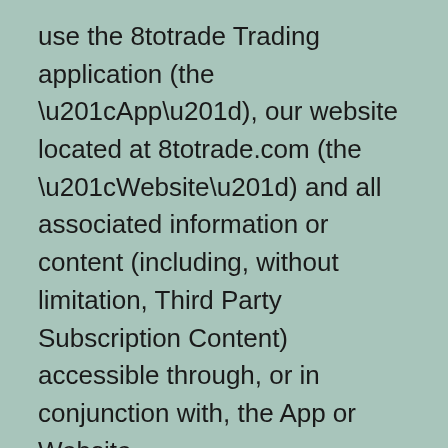use the 8totrade Trading application (the “App”), our website located at 8totrade.com (the “Website”) and all associated information or content (including, without limitation, Third Party Subscription Content) accessible through, or in conjunction with, the App or Website (“Content”), including access through the RSS reader, subject, in the case of certain content, to payment of applicable charge, as further described in section 7 of the 8totrade Trading Terms.
The 8totrade Trading Terms also apply to any communications between you and Us, and